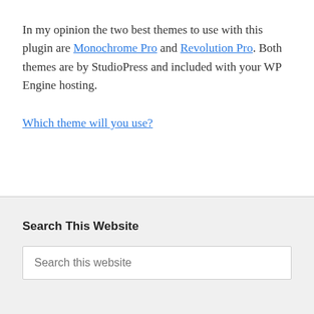In my opinion the two best themes to use with this plugin are Monochrome Pro and Revolution Pro. Both themes are by StudioPress and included with your WP Engine hosting.
Which theme will you use?
Search This Website
Search this website